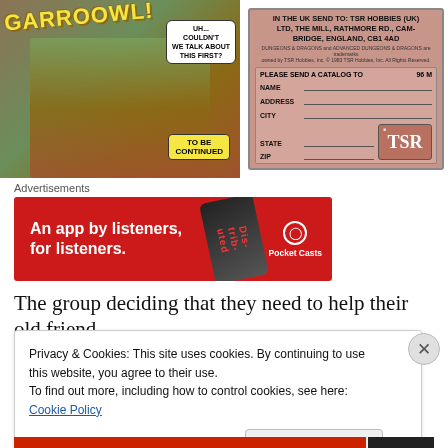[Figure (illustration): Comic book panel showing a werewolf attacking a woman, with 'GARROOWL!' text and speech bubble saying 'UH... COULDN'T WE TALK ABOUT THIS FIRST?', and a 'TO BE CONTINUED' sign. Adjacent TSR Hobbies mail-in catalog request form with fields for Name, Address, City, State, Zip.]
Advertisements
[Figure (screenshot): Pocket Casts advertisement banner: 'An app by listeners, for listeners.' with red background, phone image, and Pocket Casts logo.]
The group deciding that they need to help their old friend
Privacy & Cookies: This site uses cookies. By continuing to use this website, you agree to their use.
To find out more, including how to control cookies, see here: Cookie Policy
Close and accept